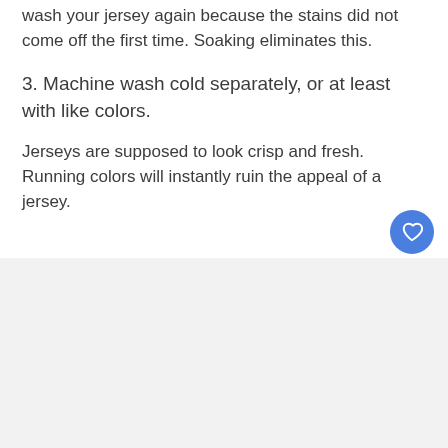wash your jersey again because the stains did not come off the first time. Soaking eliminates this.
3. Machine wash cold separately, or at least with like colors.
Jerseys are supposed to look crisp and fresh. Running colors will instantly ruin the appeal of a jersey.